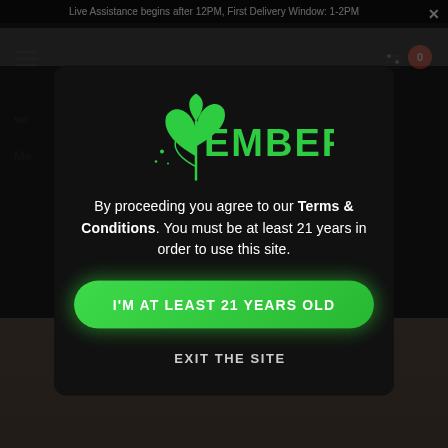Live Assistance begins after 12PM, First Delivery Window: 1-2PM
[Figure (logo): Emberz cannabis dispensary logo with green leaf/cannabis plant icon and the text EMBERZ in bold green letters]
By proceeding you agree to our Terms & Conditions. You must be at least 21 years in order to use this site.
I'M AT LEAST 21 YEARS OLD
EXIT THE SITE